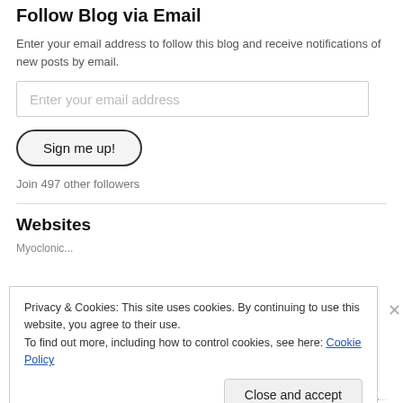Follow Blog via Email
Enter your email address to follow this blog and receive notifications of new posts by email.
[Figure (other): Email address input field with placeholder text 'Enter your email address']
[Figure (other): Button labeled 'Sign me up!']
Join 497 other followers
Websites
Privacy & Cookies: This site uses cookies. By continuing to use this website, you agree to their use.
To find out more, including how to control cookies, see here: Cookie Policy
[Figure (other): Close and accept button at bottom right of cookie banner]